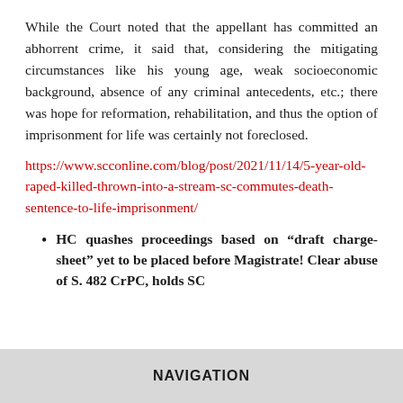While the Court noted that the appellant has committed an abhorrent crime, it said that, considering the mitigating circumstances like his young age, weak socioeconomic background, absence of any criminal antecedents, etc.; there was hope for reformation, rehabilitation, and thus the option of imprisonment for life was certainly not foreclosed.
https://www.scconline.com/blog/post/2021/11/14/5-year-old-raped-killed-thrown-into-a-stream-sc-commutes-death-sentence-to-life-imprisonment/
HC quashes proceedings based on “draft charge-sheet” yet to be placed before Magistrate! Clear abuse of S. 482 CrPC, holds SC
NAVIGATION